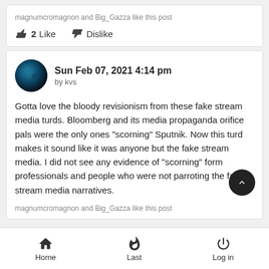magnumcromagnon and Big_Gazza like this post
👍 2  Like    👎  Dislike
Sun Feb 07, 2021 4:14 pm
by kvs
Gotta love the bloody revisionism from these fake stream media turds. Bloomberg and its media propaganda orifice pals were the only ones "scorning" Sputnik. Now this turd makes it sound like it was anyone but the fake stream media. I did not see any evidence of "scorning" form professionals and people who were not parroting the fake stream media narratives.
magnumcromagnon and Big_Gazza like this post
Home   Last   Log in